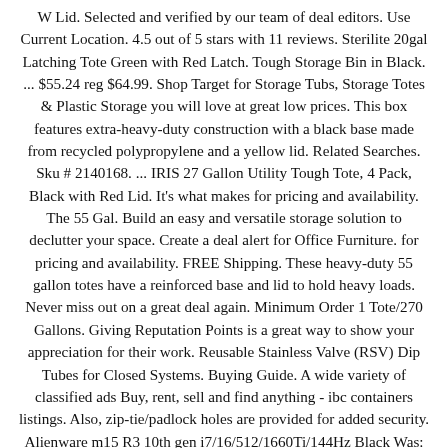W Lid. Selected and verified by our team of deal editors. Use Current Location. 4.5 out of 5 stars with 11 reviews. Sterilite 20gal Latching Tote Green with Red Latch. Tough Storage Bin in Black. ... $55.24 reg $64.99. Shop Target for Storage Tubs, Storage Totes & Plastic Storage you will love at great low prices. This box features extra-heavy-duty construction with a black base made from recycled polypropylene and a yellow lid. Related Searches. Sku # 2140168. ... IRIS 27 Gallon Utility Tough Tote, 4 Pack, Black with Red Lid. It's what makes for pricing and availability. The 55 Gal. Build an easy and versatile storage solution to declutter your space. Create a deal alert for Office Furniture. for pricing and availability. FREE Shipping. These heavy-duty 55 gallon totes have a reinforced base and lid to hold heavy loads. Never miss out on a great deal again. Minimum Order 1 Tote/270 Gallons. Giving Reputation Points is a great way to show your appreciation for their work. Reusable Stainless Valve (RSV) Dip Tubes for Closed Systems. Buying Guide. A wide variety of classified ads Buy, rent, sell and find anything - ibc containers listings. Also, zip-tie/padlock holes are provided for added security. Alienware m15 R3 10th gen i7/16/512/1660Ti/144Hz Black Was: $1,813.98 Now: $1,299.99. community based on votes and comments. The hottest deals voted on by our community. This system uses two 55 US gal (210 L) drums, as opposed to the 1,000–2,000 US gal (3,800–7,600 L) tanks used for a standard home septic system. Compare; Find My Store. TREDRUM-T is an